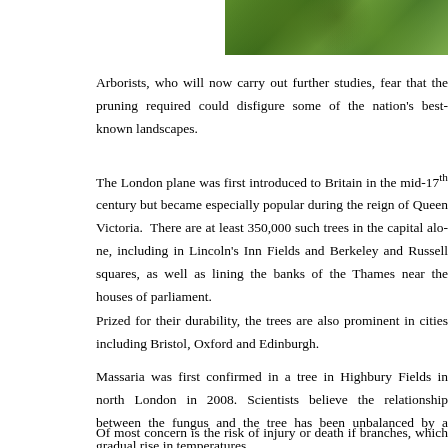[Figure (photo): Photograph of green leaves/foliage of London plane trees, cropped strip at top right of page]
Arborists, who will now carry out further studies, fear that the pruning required could disfigure some of the nation's best-known landscapes.
The London plane was first introduced to Britain in the mid-17th century but became especially popular during the reign of Queen Victoria. There are at least 350,000 such trees in the capital alone, including in Lincoln's Inn Fields and Berkeley and Russell squares, as well as lining the banks of the Thames near the houses of parliament.
Prized for their durability, the trees are also prominent in cities including Bristol, Oxford and Edinburgh.
Massaria was first confirmed in a tree in Highbury Fields in north London in 2008. Scientists believe the relationship between the fungus and the tree has been unbalanced by a gradual rise in temperatures.
Of most concern is the risk of injury or death if branches, which can be seriously affected within months, fall from the trees. No injuries have yet been reported.